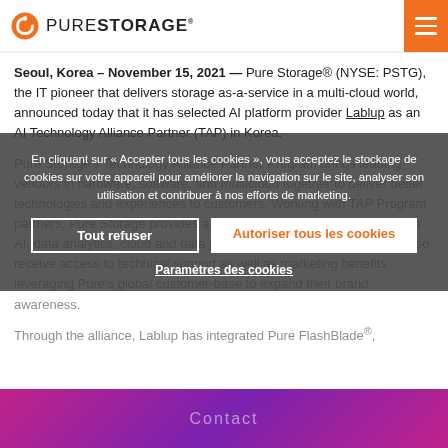PURE STORAGE
Seoul, Korea – November 15, 2021 — Pure Storage® (NYSE: PSTG), the IT pioneer that delivers storage as-a-service in a multi-cloud world, announced today that it has selected AI platform provider Lablup as an AI Technology Alliance Partner (TAP) in Korea.
Pure Storage's Technology Alliance Partner Program brings leading vendors in hardware, software, and multicloud together to deliver better technologies and experiences to customers. Working with TAP Program partners, Pure Storage provides a spectrum of joint solutions that span AI, data analytics, cloud and data protection. TAP Program partners also receive access to technical support as well as marketing benefits leveraging Pure's global customer-base to expand their brand awareness.
Through the alliance, Lablup has integrated Pure FlashBlade®, the leading unified fast file and...
En cliquant sur « Accepter tous les cookies », vous acceptez le stockage de cookies sur votre appareil pour améliorer la navigation sur le site, analyser son utilisation et contribuer à nos efforts de marketing. Tout refuser | Autoriser tous les cookies | Paramètres des cookies
Contact